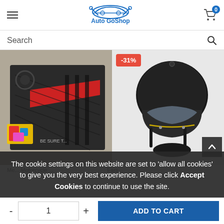Auto GoShop
Search
[Figure (photo): Product photo: car part with red and black carbon fiber styling]
[Figure (photo): Product photo: black motorcycle half helmet with visor, -31% discount badge]
The cookie settings on this website are set to 'allow all cookies' to give you the very best experience. Please click Accept Cookies to continue to use the site.
- 1 + ADD TO CART